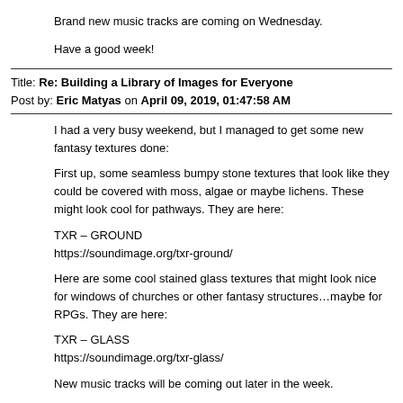Brand new music tracks are coming on Wednesday.
Have a good week!
Title: Re: Building a Library of Images for Everyone
Post by: Eric Matyas on April 09, 2019, 01:47:58 AM
I had a very busy weekend, but I managed to get some new fantasy textures done:
First up, some seamless bumpy stone textures that look like they could be covered with moss, algae or maybe lichens. These might look cool for pathways. They are here:
TXR – GROUND
https://soundimage.org/txr-ground/
Here are some cool stained glass textures that might look nice for windows of churches or other fantasy structures…maybe for RPGs. They are here:
TXR – GLASS
https://soundimage.org/txr-glass/
New music tracks will be coming out later in the week.
Enjoy!